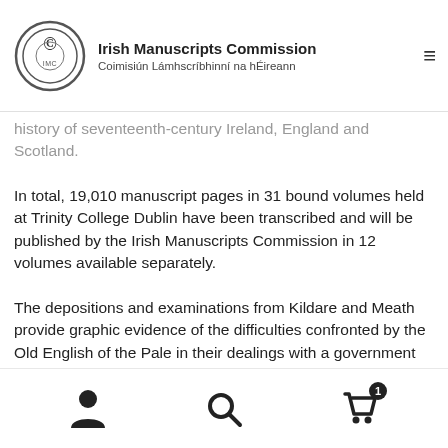Irish Manuscripts Commission | Coimisiún Lámhscríbhinní na hÉireann
history of seventeenth-century Ireland, England and Scotland.
In total, 19,010 manuscript pages in 31 bound volumes held at Trinity College Dublin have been transcribed and will be published by the Irish Manuscripts Commission in 12 volumes available separately.
The depositions and examinations from Kildare and Meath provide graphic evidence of the difficulties confronted by the Old English of the Pale in their dealings with a government which was not simply unwilling to trust or defend them, but tempted to
[navigation icons: user, search, cart with badge 1]